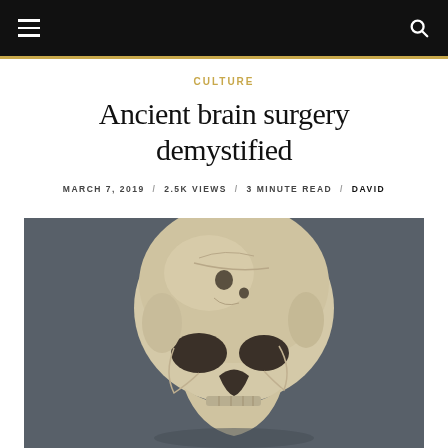CULTURE
Ancient brain surgery demystified
MARCH 7, 2019 / 2.5K VIEWS / 3 MINUTE READ / DAVID
[Figure (photo): A human skull with visible holes from ancient trepanation surgery, photographed against a dark gray background.]